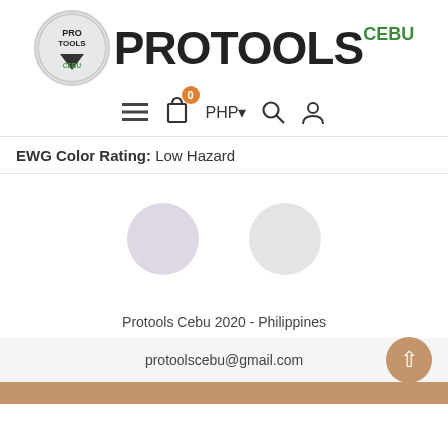[Figure (logo): ProTools Cebu logo with circular emblem on left and bold PROTOOLS text with green CEBU text on right]
[Figure (screenshot): Navigation bar with hamburger menu, shopping cart with 0 badge, PHP currency selector, search icon, and user icon]
EWG Color Rating: Low Hazard
[Figure (illustration): Two faded circular shapes in muted purple and grey tones]
Protools Cebu 2020 - Philippines
protoolscebu@gmail.com